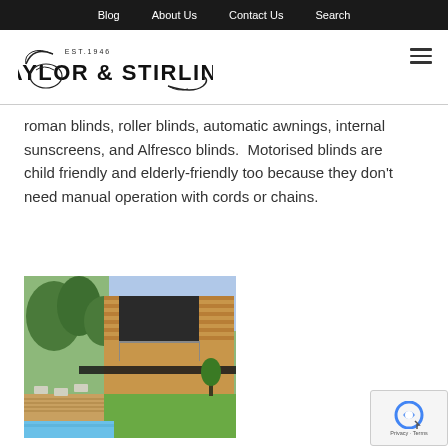Blog    About Us    Contact Us    Search
[Figure (logo): Taylor & Stirling logo with EST.1946 text and decorative swash]
roman blinds, roller blinds, automatic awnings, internal sunscreens, and Alfresco blinds.  Motorised blinds are child friendly and elderly-friendly too because they don't need manual operation with cords or chains.
[Figure (photo): Modern house exterior with wooden cladding, green lawn, pool, outdoor seating area, and automated external blinds/awnings on upper level]